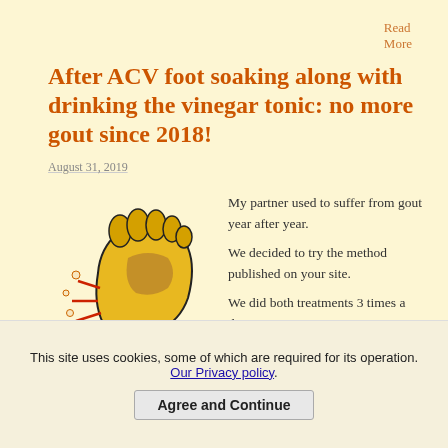Read More
After ACV foot soaking along with drinking the vinegar tonic: no more gout since 2018!
August 31, 2019
[Figure (illustration): Illustrated image of a yellow foot with red pain indicators around the toe area, suggesting gout inflammation.]
My partner used to suffer from gout year after year. We decided to try the method published on your site. We did both treatments 3 times a day. A week later, my husband …
This site uses cookies, some of which are required for its operation. Our Privacy policy.
Agree and Continue